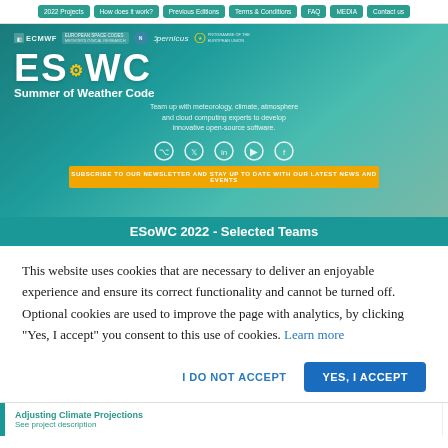2022 Projects | How does it work? | Previous Editions | Terms & Conditions | FAQ | MEDIA | Contact us
[Figure (screenshot): ESoWC hero banner with logos (ECMWF, European Space Agency, Copernicus, EU), ESoWC title, Summer of Weather Code subtitle, description text, social media icons, and subscribe newsletter button]
ESoWC 2022 - Selected Teams
This website uses cookies that are necessary to deliver an enjoyable experience and ensure its correct functionality and cannot be turned off. Optional cookies are used to improve the page with analytics, by clicking "Yes, I accept" you consent to this use of cookies. Learn more
I DO NOT ACCEPT | YES, I ACCEPT
Adjusting Climate Projections
See project description